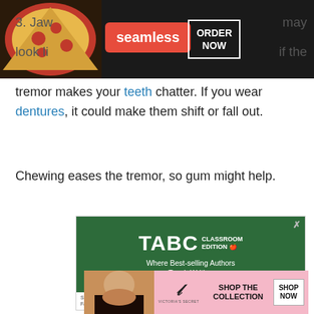[Figure (other): Seamless food delivery ad banner with pizza image, red Seamless logo button, and ORDER NOW button on dark background]
3. Jaw tremors may look like... if the tremor makes your teeth chatter. If you wear dentures, it could make them shift or fall out.
Chewing eases the tremor, so gum might help.
[Figure (other): TABC Classroom Edition advertisement on green chalkboard background. Text: Where Best-selling Authors Teach Writing. Subscription Plans for Individuals, Families, Schools, and Home School Programs. CLOSE button.]
[Figure (other): Victoria's Secret advertisement. SHOP THE COLLECTION. SHOP NOW button. Pink background with model photo.]